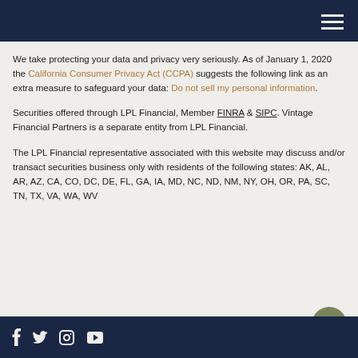Navigation header with hamburger menu
We take protecting your data and privacy very seriously. As of January 1, 2020 the California Consumer Privacy Act (CCPA) suggests the following link as an extra measure to safeguard your data: Do not sell my personal information.
Securities offered through LPL Financial, Member FINRA & SIPC. Vintage Financial Partners is a separate entity from LPL Financial.
The LPL Financial representative associated with this website may discuss and/or transact securities business only with residents of the following states: AK, AL, AR, AZ, CA, CO, DC, DE, FL, GA, IA, MD, NC, ND, NM, NY, OH, OR, PA, SC, TN, TX, VA, WA, WV
Social icons: Facebook, Twitter, LinkedIn, YouTube. Scroll to top button.